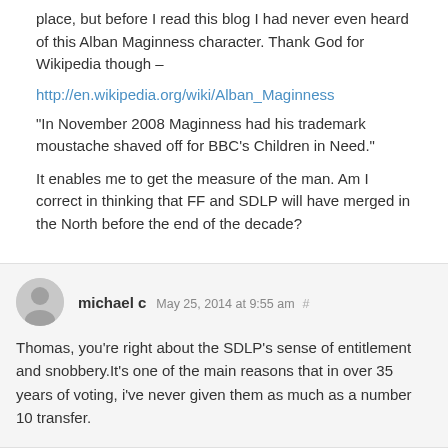place, but before I read this blog I had never even heard of this Alban Maginness character. Thank God for Wikipedia though –
http://en.wikipedia.org/wiki/Alban_Maginness
“In November 2008 Maginness had his trademark moustache shaved off for BBC’s Children in Need.”
It enables me to get the measure of the man. Am I correct in thinking that FF and SDLP will have merged in the North before the end of the decade?
michael c May 25, 2014 at 9:55 am #
Thomas, you're right about the SDLP’s sense of entitlement and snobbery.It's one of the main reasons that in over 35 years of voting, i've never given them as much as a number 10 transfer.